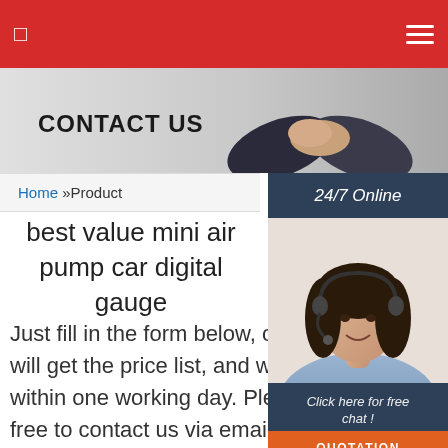navigation bar with menu icon and hamburger icon
[Figure (photo): Banner image showing two business people shaking hands with text CONTACT US on the left side]
Home »Product
best value mini air pump car digital gauge
Just fill in the form below, click submit, you will get the price list, and we will contact you within one working day. Please also feel free to contact us via email or phone. (* is required).
[Figure (photo): Sidebar widget showing 24/7 Online label, photo of a customer service woman with headset, Click here for free chat text, and a QUOTATION orange button]